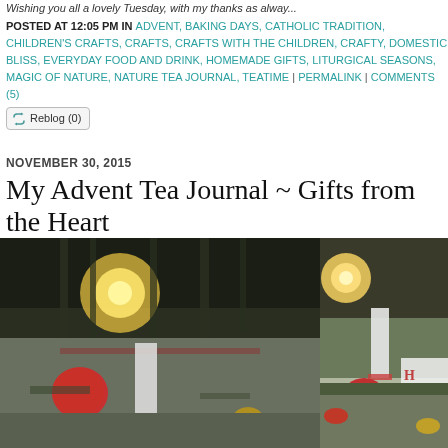Wishing you all a lovely Tuesday, with my thanks as alway...
POSTED AT 12:05 PM IN ADVENT, BAKING DAYS, CATHOLIC TRADITION, CHILDREN'S CRAFTS, CRAFTS, CRAFTS WITH THE CHILDREN, CRAFTY, DOMESTIC BLISS, EVERYDAY FOOD AND DRINK, HOMEMADE GIFTS, LITURGICAL SEASONS, MAGIC OF NATURE, NATURE TEA JOURNAL, TEATIME | PERMALINK | COMMENTS (5)
Reblog (0)
NOVEMBER 30, 2015
My Advent Tea Journal ~ Gifts from the Heart
[Figure (photo): Outdoor scene at sunset/dusk with candles, red apple, evergreen branches, stones and decorative items on a surface, trees and bright sunlight in background]